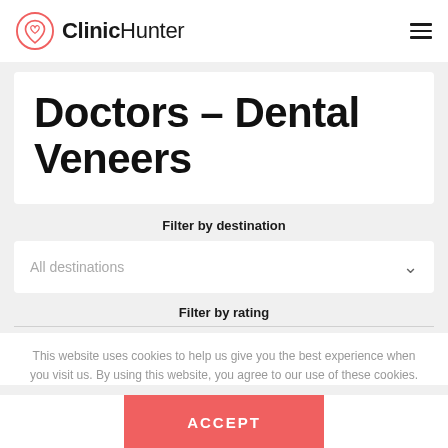ClinicHunter
Doctors - Dental Veneers
Filter by destination
All destinations
Filter by rating
This website uses cookies to help us give you the best experience when you visit us. By using this website, you agree to our use of these cookies.
ACCEPT